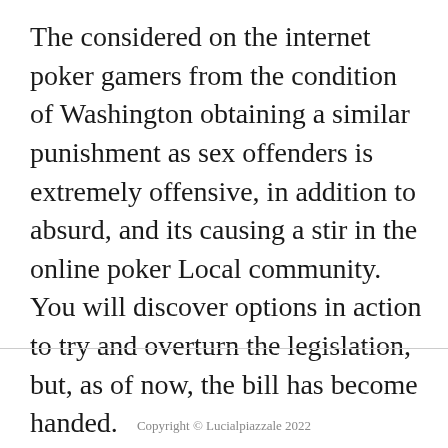The considered on the internet poker gamers from the condition of Washington obtaining a similar punishment as sex offenders is extremely offensive, in addition to absurd, and its causing a stir in the online poker Local community. You will discover options in action to try and overturn the legislation, but, as of now, the bill has become handed.
Copyright © Lucialpiazzale 2022